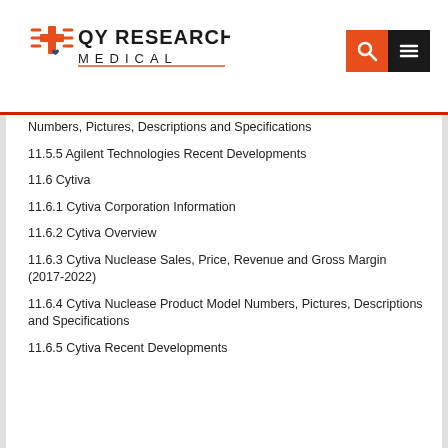QY Research Medical
Numbers, Pictures, Descriptions and Specifications
11.5.5 Agilent Technologies Recent Developments
11.6 Cytiva
11.6.1 Cytiva Corporation Information
11.6.2 Cytiva Overview
11.6.3 Cytiva Nuclease Sales, Price, Revenue and Gross Margin (2017-2022)
11.6.4 Cytiva Nuclease Product Model Numbers, Pictures, Descriptions and Specifications
11.6.5 Cytiva Recent Developments